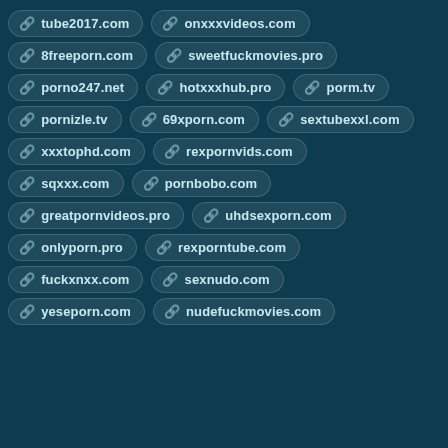tube2017.com
onxxxvideos.com
8freeporn.com
sweetfuckmovies.pro
porno247.net
hotxxxhub.pro
porm.tv
pornizle.tv
69xporn.com
sextubexxl.com
xxxtophd.com
rexpornvids.com
sqxxx.com
pornbobo.com
greatpornvideos.pro
uhdsexporn.com
onlyporn.pro
rexporntube.com
fuckxnxx.com
sexnudo.com
yeseporn.com
nudefuckmovies.com